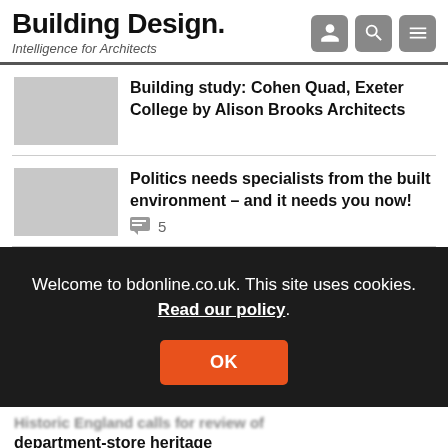Building Design. Intelligence for Architects
Building study: Cohen Quad, Exeter College by Alison Brooks Architects
Politics needs specialists from the built environment – and it needs you now!
Welcome to bdonline.co.uk. This site uses cookies. Read our policy.
OK
department-store heritage